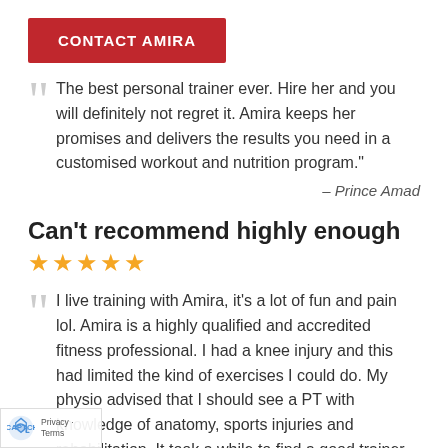CONTACT AMIRA
The best personal trainer ever. Hire her and you will definitely not regret it. Amira keeps her promises and delivers the results you need in a customised workout and nutrition program."
– Prince Amad
Can't recommend highly enough
★★★★★
I live training with Amira, it's a lot of fun and pain lol. Amira is a highly qualified and accredited fitness professional. I had a knee injury and this had limited the kind of exercises I could do. My physio advised that I should see a PT with knowledge of anatomy, sports injuries and rehabilitation. It took a while to find a good trainer but since I found Amira I can tell I am feeling much stronger and fitter in general. Amira is different, she